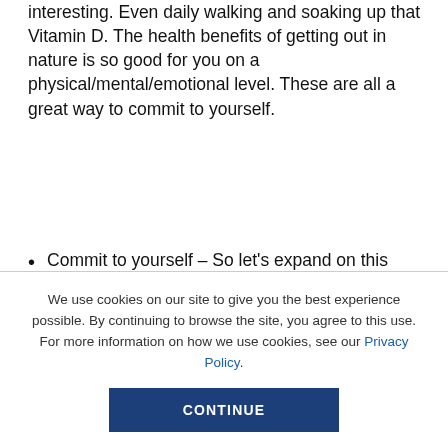interesting. Even daily walking and soaking up that Vitamin D. The health benefits of getting out in nature is so good for you on a physical/mental/emotional level. These are all a great way to commit to yourself.
Commit to yourself – So let's expand on this committing to yourself. As a
We use cookies on our site to give you the best experience possible. By continuing to browse the site, you agree to this use. For more information on how we use cookies, see our Privacy Policy.
CONTINUE